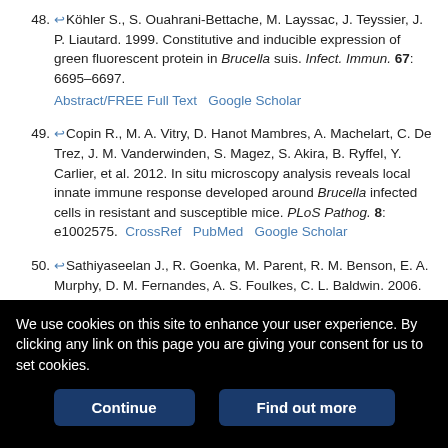48. Köhler S., S. Ouahrani-Bettache, M. Layssac, J. Teyssier, J. P. Liautard. 1999. Constitutive and inducible expression of green fluorescent protein in Brucella suis. Infect. Immun. 67: 6695–6697. Abstract/FREE Full Text Google Scholar
49. Copin R., M. A. Vitry, D. Hanot Mambres, A. Machelart, C. De Trez, J. M. Vanderwinden, S. Magez, S. Akira, B. Ryffel, Y. Carlier, et al. 2012. In situ microscopy analysis reveals local innate immune response developed around Brucella infected cells in resistant and susceptible mice. PLoS Pathog. 8: e1002575. CrossRef PubMed Google Scholar
50. Sathiyaseelan J., R. Goenka, M. Parent, R. M. Benson, E. A. Murphy, D. M. Fernandes, A. S. Foulkes, C. L. Baldwin. 2006. Treatment of Brucella-susceptible mice with IL-12 increases primary and secondary immunity. Cell. Immunol. 243: 1–9. CrossRef PubMed Google Scholar
51. [partial] Therapy of experimental...
We use cookies on this site to enhance your user experience. By clicking any link on this page you are giving your consent for us to set cookies.